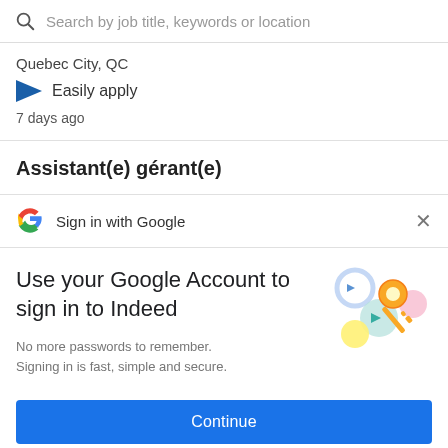Search by job title, keywords or location
Quebec City, QC
Easily apply
7 days ago
Assistant(e) gérant(e)
Sign in with Google
Use your Google Account to sign in to Indeed
No more passwords to remember. Signing in is fast, simple and secure.
[Figure (illustration): Colorful illustration of a key with circular icons representing Google account security]
Continue